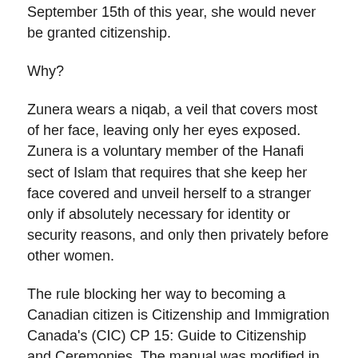September 15th of this year, she would never be granted citizenship.
Why?
Zunera wears a niqab, a veil that covers most of her face, leaving only her eyes exposed. Zunera is a voluntary member of the Hanafi sect of Islam that requires that she keep her face covered and unveil herself to a stranger only if absolutely necessary for identity or security reasons, and only then privately before other women.
The rule blocking her way to becoming a Canadian citizen is Citizenship and Immigration Canada's (CIC) CP 15: Guide to Citizenship and Ceremonies. The manual was modified in December 2011 to contain the following section: